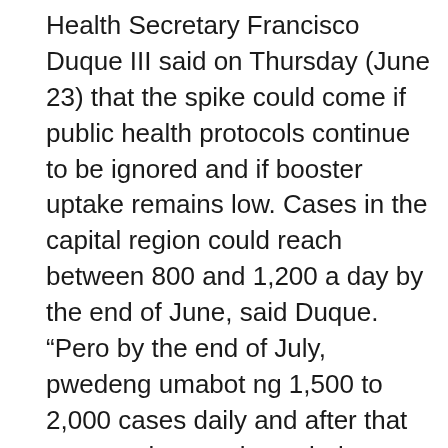Health Secretary Francisco Duque III said on Thursday (June 23) that the spike could come if public health protocols continue to be ignored and if booster uptake remains low. Cases in the capital region could reach between 800 and 1,200 a day by the end of June, said Duque. “Pero by the end of July, pwedeng umabot ng 1,500 to 2,000 cases daily and after that magpa-plateau siya to below 1,000 (But by the end of July, cases could reach 1,500 to 2,000 daily and after that, cases will plateau to below 1,000).” The projection is based on assumptions such as a decline in people’s compliance with minimum public health standards, low uptake